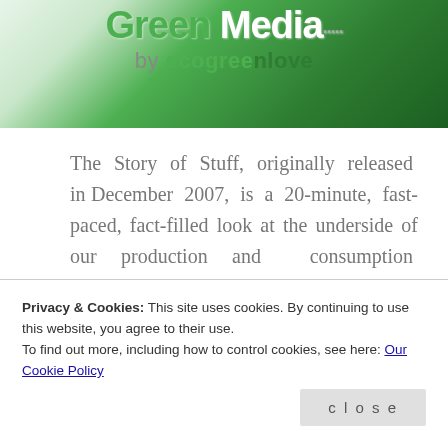[Figure (illustration): Green Media banner logo by ecogreenlove — green gradient background with 'Green Media' title text and 'by ecogreenlove' subtitle in green tones]
The Story of Stuff, originally released in December 2007, is a 20-minute, fast-paced, fact-filled look at the underside of our production and consumption patterns. The Story of Stuff exposes the connections between a huge number of environmental and social issues, and calls us together to create a more sustainable and
Privacy & Cookies: This site uses cookies. By continuing to use this website, you agree to their use.
To find out more, including how to control cookies, see here: Our Cookie Policy